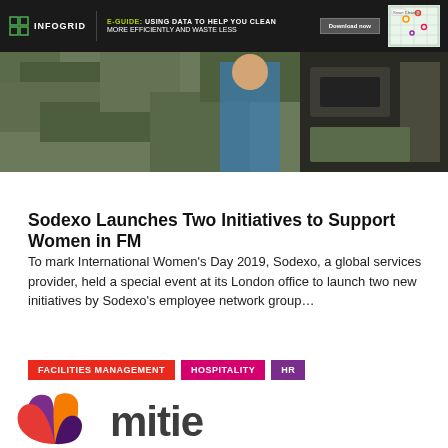INFOGRID | E-GUIDE: USING DATA TO HELP YOU CLEAN MORE EFFICIENTLY AND WASTE LESS | Download now
[Figure (photo): Hero image strip showing military camouflage uniforms and equipment, two people in military gear]
Sodexo Launches Two Initiatives to Support Women in FM
To mark International Women’s Day 2019, Sodexo, a global services provider, held a special event at its London office to launch two new initiatives by Sodexo’s employee network group...
FACILITIES MANAGEMENT
HOSPITALITY
HR
[Figure (logo): Mitie company logo — colourful geometric leaf/swoosh icon in purple, orange and red, followed by the word 'mitie' in large dark grey rounded letters]